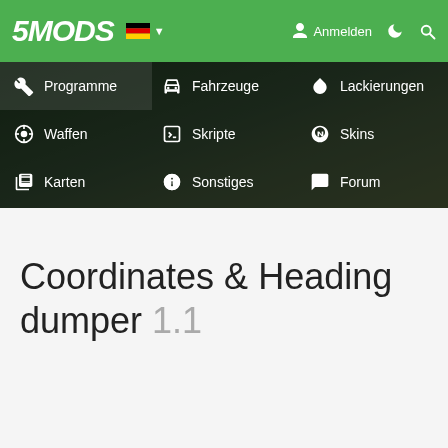[Figure (screenshot): 5MODS website header with green top bar showing logo, German flag language selector, Anmelden login button, moon icon, and search icon. Below is a dark navigation dropdown menu with items: Programme, Fahrzeuge, Lackierungen, Waffen, Skripte, Skins, Karten, Sonstiges, Forum, More.]
Coordinates & Heading dumper 1.1